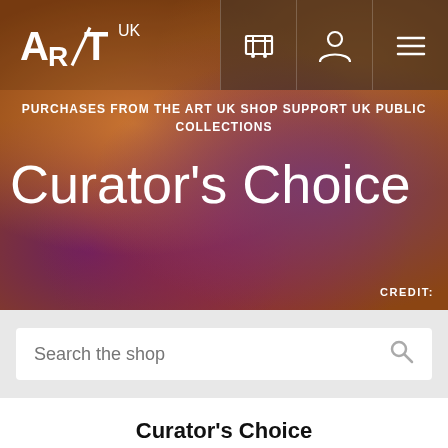[Figure (screenshot): Art UK website hero banner showing a painterly artwork of a figure, with navigation bar containing logo, cart, user, and menu icons, overlaid with text 'PURCHASES FROM THE ART UK SHOP SUPPORT UK PUBLIC COLLECTIONS' and large title 'Curator's Choice', with 'CREDIT' label at bottom right]
Search the shop
Curator's Choice
Browse handpicked artworks below, chosen by curators from your region's public collections.